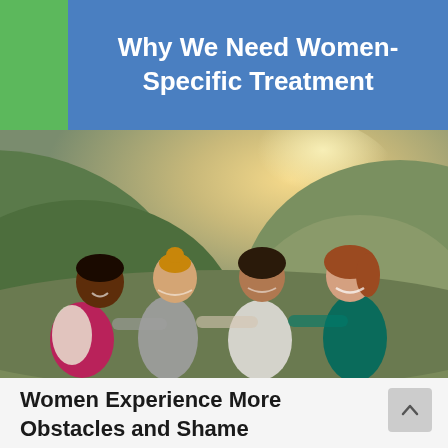Why We Need Women-Specific Treatment
[Figure (photo): Four women of different ethnicities smiling with arms around each other outdoors on a hillside trail with sunlight in the background]
Women Experience More Obstacles and Shame